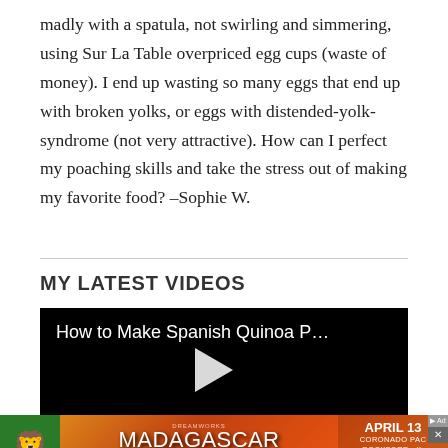madly with a spatula, not swirling and simmering, using Sur La Table overpriced egg cups (waste of money). I end up wasting so many eggs that end up with broken yolks, or eggs with distended-yolk-syndrome (not very attractive). How can I perfect my poaching skills and take the stress out of making my favorite food? –Sophie W.
MY LATEST VIDEOS
[Figure (screenshot): Video player with black background showing title 'How to Make Spanish Quinoa P...' and a white play button triangle in the center]
[Figure (photo): Advertisement banner for Madagascar The Musical showing lion character, orange/red gradient background, text 'APRIL 13 CORONADO PAC ROCKFORD - IL TICKETS']